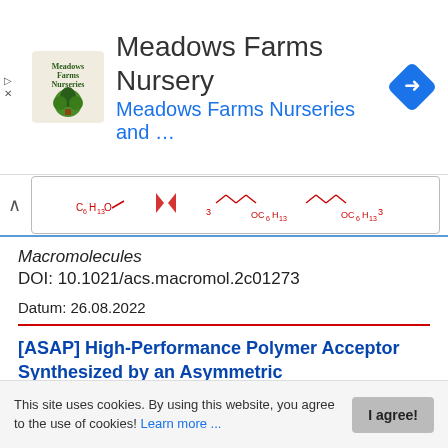[Figure (other): Meadows Farms Nursery advertisement banner with logo, text, and navigation icon]
[Figure (other): Chemical structure strip showing molecular structures with C6H13O and OC6H13 groups in red]
Macromolecules
DOI: 10.1021/acs.macromol.2c01273
Datum: 26.08.2022
[ASAP] High-Performance Polymer Acceptor Synthesized by an Asymmetric Copolymerization Strategy
S.
This site uses cookies. By using this website, you agree to the use of cookies! Learn more ...